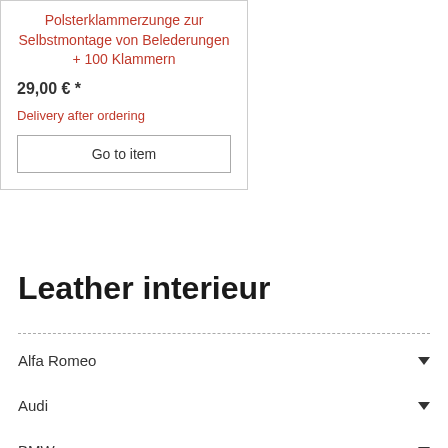Polsterklammerzunge zur Selbstmontage von Belederungen + 100 Klammern
29,00 € *
Delivery after ordering
Go to item
Leather interieur
Alfa Romeo
Audi
BMW
Chrysler